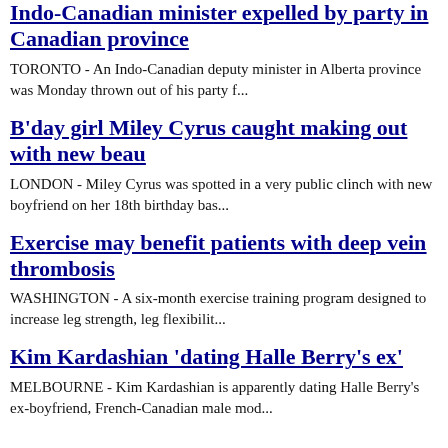Indo-Canadian minister expelled by party in Canadian province
TORONTO - An Indo-Canadian deputy minister in Alberta province was Monday thrown out of his party f...
B'day girl Miley Cyrus caught making out with new beau
LONDON - Miley Cyrus was spotted in a very public clinch with new boyfriend on her 18th birthday bas...
Exercise may benefit patients with deep vein thrombosis
WASHINGTON - A six-month exercise training program designed to increase leg strength, leg flexibilit...
Kim Kardashian 'dating Halle Berry's ex'
MELBOURNE - Kim Kardashian is apparently dating Halle Berry's ex-boyfriend, French-Canadian male mod...